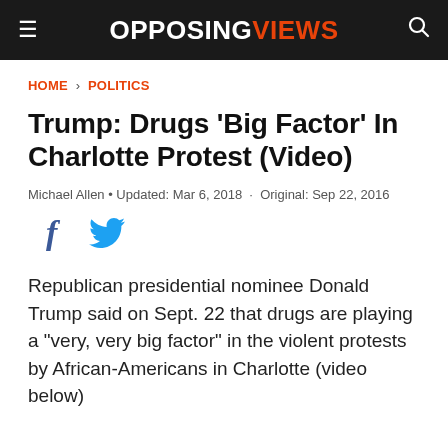OPPOSING VIEWS
HOME › POLITICS
Trump: Drugs 'Big Factor' In Charlotte Protest (Video)
Michael Allen • Updated: Mar 6, 2018 · Original: Sep 22, 2016
[Figure (other): Social share buttons: Facebook and Twitter icons]
Republican presidential nominee Donald Trump said on Sept. 22 that drugs are playing a "very, very big factor" in the violent protests by African-Americans in Charlotte (video below)